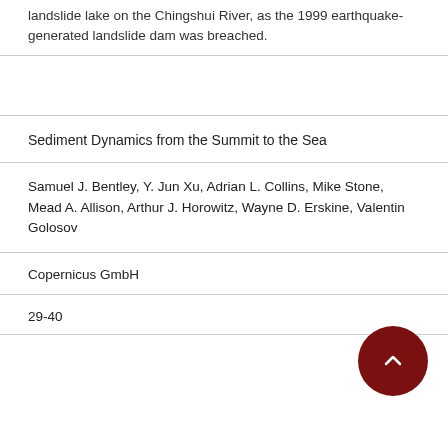landslide lake on the Chingshui River, as the 1999 earthquake-generated landslide dam was breached.
Sediment Dynamics from the Summit to the Sea
Samuel J. Bentley, Y. Jun Xu, Adrian L. Collins, Mike Stone, Mead A. Allison, Arthur J. Horowitz, Wayne D. Erskine, Valentin Golosov
Copernicus GmbH
29-40